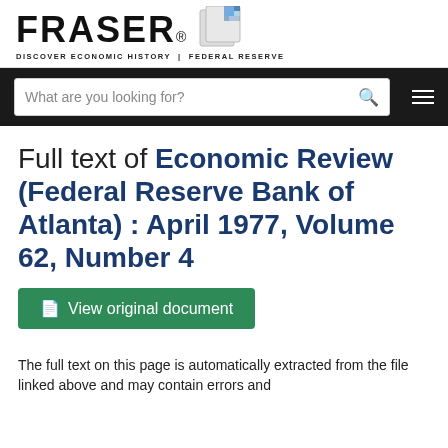[Figure (logo): FRASER logo with book/document icon. Text: FRASER® DISCOVER ECONOMIC HISTORY | FEDERAL RESERVE]
[Figure (screenshot): Navigation search bar with placeholder text 'What are you looking for?' and search icon, plus hamburger menu icon on dark background]
Full text of Economic Review (Federal Reserve Bank of Atlanta) : April 1977, Volume 62, Number 4
[Figure (other): Green button labeled 'View original document' with document icon]
The full text on this page is automatically extracted from the file linked above and may contain errors and